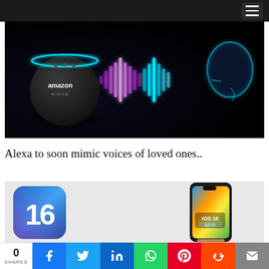Navigation menu header
[Figure (photo): Amazon Echo Dot smart speaker with glowing blue ring on a dark background, with sound wave visualization and a glowing blue face silhouette speaking into it]
Alexa to soon mimic voices of loved ones..
[Figure (photo): iOS 16 app icon showing number 16 on a blue gradient background, alongside a hand holding an iPhone displaying iOS 16 BETA on screen]
0 SHARES — Share buttons: Facebook, Twitter, LinkedIn, WhatsApp, Pinterest, Reddit, Email